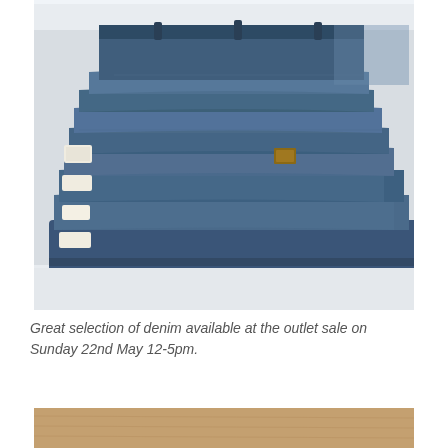[Figure (photo): A stack of folded blue denim jeans photographed on a white surface, showing multiple pairs piled on top of each other with visible labels and waistbands, in bright daylight.]
Great selection of denim available at the outlet sale on Sunday 22nd May 12-5pm.
[Figure (photo): Partial bottom photo, appears to show a sandy or wooden surface, cropped at the bottom of the page.]